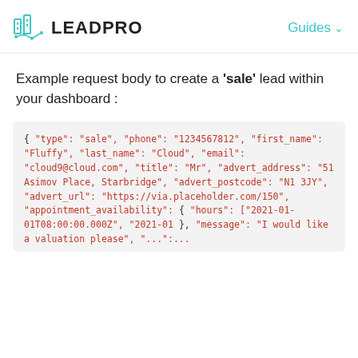LEADPRO   Guides
Example request body to create a 'sale' lead within your dashboard :
{
    "type": "sale",
    "phone": "1234567812",
    "first_name": "Fluffy",
    "last_name": "Cloud",
    "email": "cloud9@cloud.com",
    "title": "Mr",
    "advert_address": "51 Asimov Place, Starbridge",
    "advert_postcode": "N1 3JY",
    "advert_url": "https://via.placeholder.com/150",
    "appointment_availability": {
      "hours": ["2021-01-01T08:00:00.000Z", "2021-01
    },
    "message": "I would like a valuation please",
    "...":